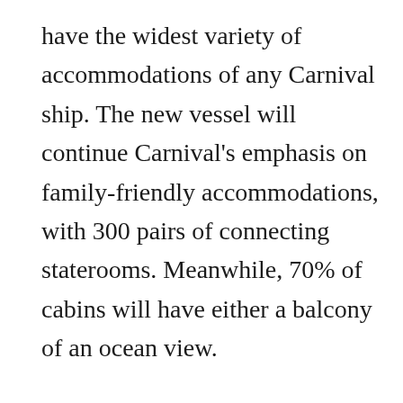have the widest variety of accommodations of any Carnival ship. The new vessel will continue Carnival's emphasis on family-friendly accommodations, with 300 pairs of connecting staterooms. Meanwhile, 70% of cabins will have either a balcony of an ocean view.